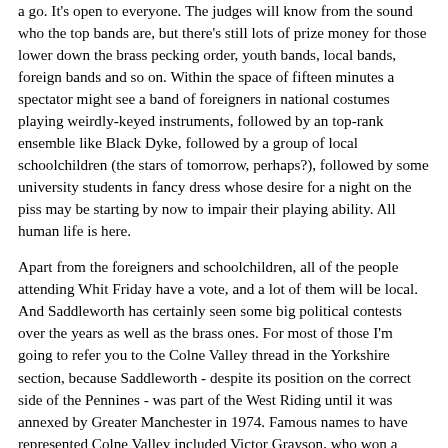a go. It's open to everyone. The judges will know from the sound who the top bands are, but there's still lots of prize money for those lower down the brass pecking order, youth bands, local bands, foreign bands and so on. Within the space of fifteen minutes a spectator might see a band of foreigners in national costumes playing weirdly-keyed instruments, followed by an top-rank ensemble like Black Dyke, followed by a group of local schoolchildren (the stars of tomorrow, perhaps?), followed by some university students in fancy dress whose desire for a night on the piss may be starting by now to impair their playing ability. All human life is here.
Apart from the foreigners and schoolchildren, all of the people attending Whit Friday have a vote, and a lot of them will be local. And Saddleworth has certainly seen some big political contests over the years as well as the brass ones. For most of those I'm going to refer you to the Colne Valley thread in the Yorkshire section, because Saddleworth - despite its position on the correct side of the Pennines - was part of the West Riding until it was annexed by Greater Manchester in 1974. Famous names to have represented Colne Valley included Victor Grayson, who won a 1907 by-election and served until 1910, ten years before his mysterious disappearance; Philip Snowden, the first Labour Chancellor of the Exchequer; Sir Patrick Duffy, who won a by-election in 1963 and in June 2020 joined the ranks of MPs who became centenarians; and Richard Wainwright, one of the few Liberal MPs of the 1960s and 1970s.
Lees, on the other hand, was an urban district within Lancashire; but it was cut off from the rest of Lancashire by the County Borough of Oldham. Classic textile towns both. As such Lees was from the beginning part of the two-seat Oldham constituency enfranchised by the Great Reform Act of 1832, a seat which also took in the parish of Crompton to the north. It's appropriate that one of the first two MPs for Oldham should have been one...